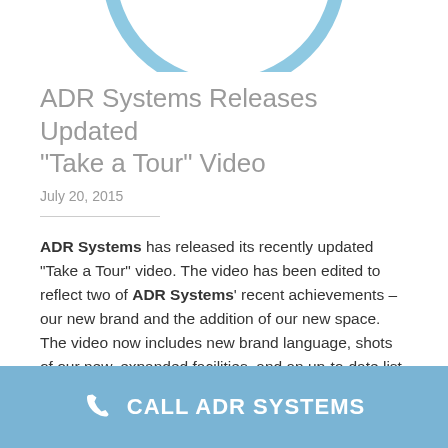[Figure (illustration): Partial circular logo or graphic in light blue at the top of the page, cropped]
ADR Systems Releases Updated “Take a Tour” Video
July 20, 2015
ADR Systems has released its recently updated “Take a Tour” video.  The video has been edited to reflect two of ADR Systems’ recent achievements – our new brand and the addition of our new space.  The video now includes new brand language, shots of our new, expanded facilities, and an up-to-date list of case types in which we specialize.  ADR [...]
Read More
CALL ADR SYSTEMS